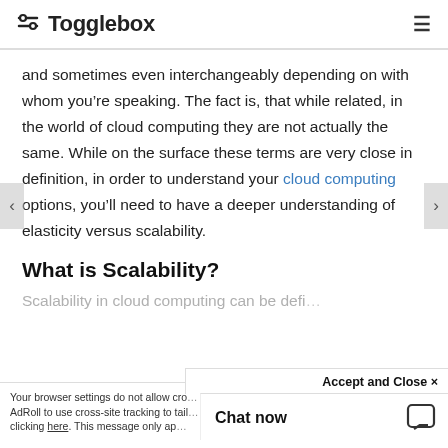Togglebox
and sometimes even interchangeably depending on with whom you’re speaking. The fact is, that while related, in the world of cloud computing they are not actually the same. While on the surface these terms are very close in definition, in order to understand your cloud computing options, you’ll need to have a deeper understanding of elasticity versus scalability.
What is Scalability?
Scalability in cloud computing can be defi…
Your browser settings do not allow cro… AdRoll to use cross-site tracking to tail… by clicking here. This message only ap…
Accept and Close ×
Chat now